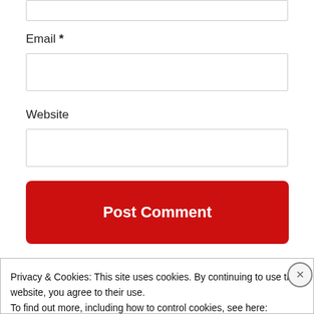Email *
Website
Post Comment
Privacy & Cookies: This site uses cookies. By continuing to use this website, you agree to their use.
To find out more, including how to control cookies, see here:
Cookie Policy
Close and accept